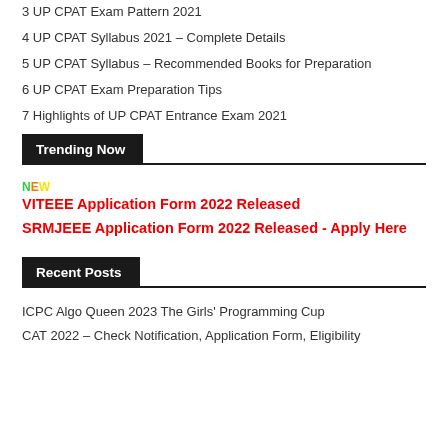3 UP CPAT Exam Pattern 2021
4 UP CPAT Syllabus 2021 – Complete Details
5 UP CPAT Syllabus – Recommended Books for Preparation
6 UP CPAT Exam Preparation Tips
7 Highlights of UP CPAT Entrance Exam 2021
Trending Now
NEW VITEEE Application Form 2022 Released
SRMJEEE Application Form 2022 Released - Apply Here
Recent Posts
ICPC Algo Queen 2023 The Girls' Programming Cup
CAT 2022 – Check Notification, Application Form, Eligibility